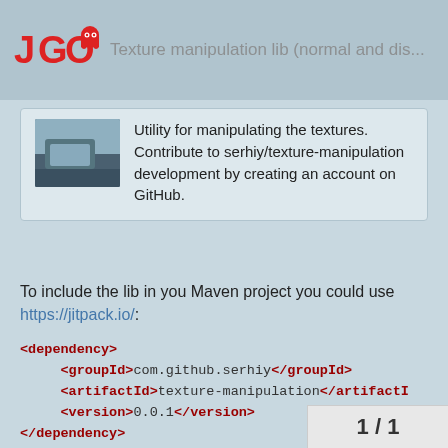Texture manipulation lib (normal and dis...
Utility for manipulating the textures. Contribute to serhiy/texture-manipulation development by creating an account on GitHub.
To include the lib in you Maven project you could use https://jitpack.io/:
1 / 1